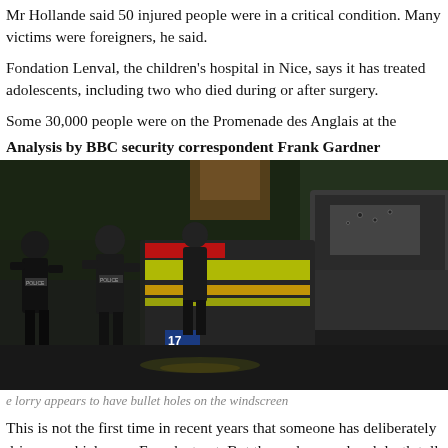Mr Hollande said 50 injured people were in a critical condition. Many victims were foreigners, he said.
Fondation Lenval, the children's hospital in Nice, says it has treated adolescents, including two who died during or after surgery.
Some 30,000 people were on the Promenade des Anglais at the
Analysis by BBC security correspondent Frank Gardner
[Figure (photo): Police officers and emergency vehicles at night on the scene of the Nice truck attack. A large lorry is visible on the right side. Emergency vehicles with yellow and green markings are in the center.]
e lorry appears to have bullet holes on the windscreen
This is not the first time in recent years that someone has deliberately driven a vehicle on a French street. But the scale, speed and death toll from this
It follows an earlier call by so-called Islamic State (IS) spokesman for followers to do exactly what this truck driver did. This, and other partly in response to the significant losses being experienced by